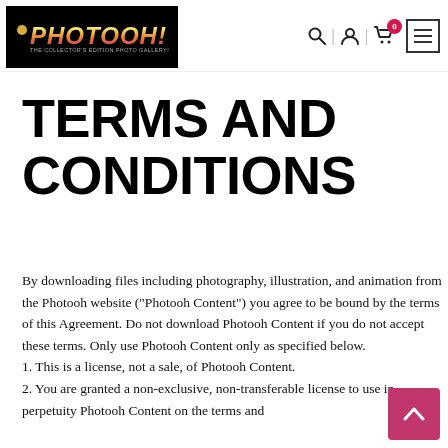[Figure (logo): Photooh logo — black background box with stylized golden-pink-red gradient text 'PHOTOOH!' and subtitle 'THE COLLECTOR'S EDITION PHOTO GALLERY!']
Search | Account | Cart (0) | Menu
TERMS AND CONDITIONS
By downloading files including photography, illustration, and animation from the Photooh website ("Photooh Content") you agree to be bound by the terms of this Agreement. Do not download Photooh Content if you do not accept these terms. Only use Photooh Content only as specified below. 1. This is a license, not a sale, of Photooh Content. 2. You are granted a non-exclusive, non-transferable license to use in perpetuity Photooh Content on the terms and